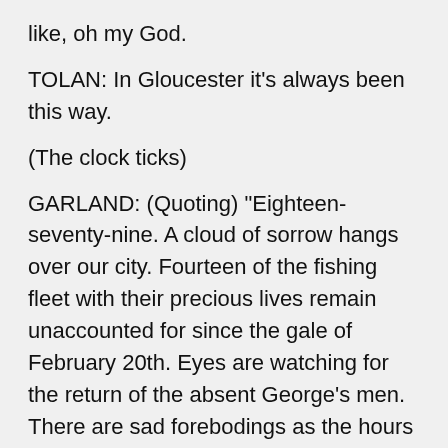like, oh my God.
TOLAN: In Gloucester it's always been this way.
(The clock ticks)
GARLAND: (Quoting) "Eighteen-seventy-nine. A cloud of sorrow hangs over our city. Fourteen of the fishing fleet with their precious lives remain unaccounted for since the gale of February 20th. Eyes are watching for the return of the absent George's men. There are sad forebodings as the hours glide by. Which only God and aching hearts will ever know of. It is terrible. The very thought of the probable loss which o'ershadows this community is well nigh overwhelming, and it is the theme on every tongue, the all- engrossing thought of our people." It's a sad thing. The American Dream has always been the joy and discovery and energy and activism and optimism are